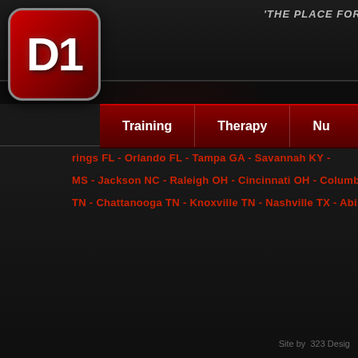[Figure (logo): D1 logo: red rounded square with white D1 text]
'THE PLACE FOR 'THE ATH
Training | Therapy | Nu
rings FL - Orlando FL - Tampa GA - Savannah KY -
MS - Jackson NC - Raleigh OH - Cincinnati OH - Columbus PA -
TN - Chattanooga TN - Knoxville TN - Nashville TX - Abilene WI
Prev  1
Training | Therapy | N
© D1 Sports Holdings, LLC. D1 is
Site by  323 Desig